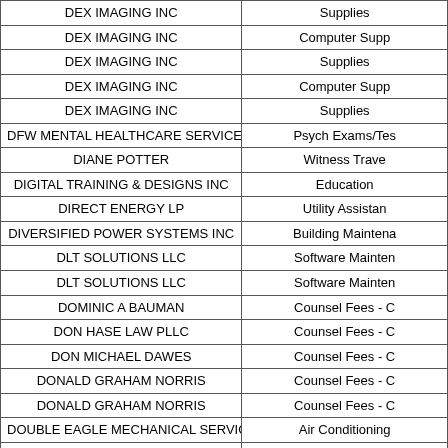| Vendor | Category |
| --- | --- |
| DEX IMAGING INC | Supplies |
| DEX IMAGING INC | Computer Supp |
| DEX IMAGING INC | Supplies |
| DEX IMAGING INC | Computer Supp |
| DEX IMAGING INC | Supplies |
| DFW MENTAL HEALTHCARE SERVICES PLLC | Psych Exams/Tes |
| DIANE POTTER | Witness Trave |
| DIGITAL TRAINING & DESIGNS INC | Education |
| DIRECT ENERGY LP | Utility Assistan |
| DIVERSIFIED POWER SYSTEMS INC | Building Maintena |
| DLT SOLUTIONS LLC | Software Mainten |
| DLT SOLUTIONS LLC | Software Mainten |
| DOMINIC A BAUMAN | Counsel Fees - C |
| DON HASE LAW PLLC | Counsel Fees - C |
| DON MICHAEL DAWES | Counsel Fees - C |
| DONALD GRAHAM NORRIS | Counsel Fees - C |
| DONALD GRAHAM NORRIS | Counsel Fees - C |
| DOUBLE EAGLE MECHANICAL SERVICES | Air Conditioning |
| DRAKE DUNNAVENT PC | Counsel Fees - C |
| DRAKE DUNNAVENT PC | Counsel Fees - C |
| DUNAWAY ASSOCIATES LP | Professional Ser |
| DYNATEN CORPORATION | Building Maintena |
| DYNATEN CORPORATION | Air Conditioning |